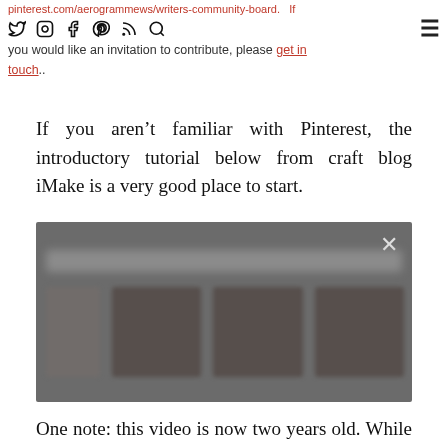pinterest.com/aerogrammews/writers-community-board.  If you would like an invitation to contribute, please get in touch..
If you aren’t familiar with Pinterest, the introductory tutorial below from craft blog iMake is a very good place to start.
[Figure (screenshot): A blurred screenshot of a Pinterest board with an X close button in the top right corner, showing blurred thumbnail images]
One note: this video is now two years old. While the key